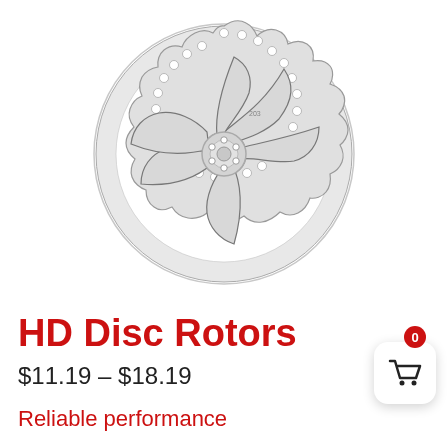[Figure (photo): A bicycle disc brake rotor, stainless steel with a wavy/scalloped outer edge, six curved spoke-like arms and a center bolt pattern. Product photo on white background.]
HD Disc Rotors
$11.19 - $18.19
Reliable performance